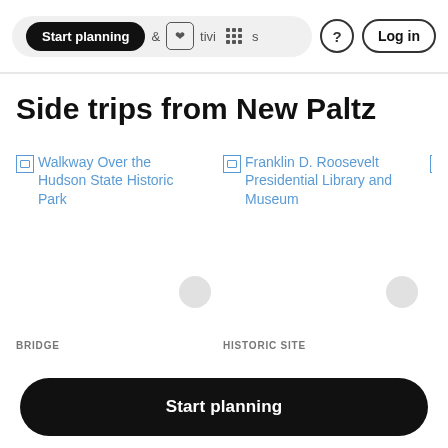Start planning | & activities | ? | Log in
Side trips from New Paltz
[Figure (screenshot): Broken image placeholder for Walkway Over the Hudson State Historic Park with blue link text]
BRIDGE
Walkway Over the
[Figure (screenshot): Broken image placeholder for Franklin D. Roosevelt Presidential Library and Museum with blue link text]
HISTORIC SITE
Franklin D. Roosevelt
Start planning